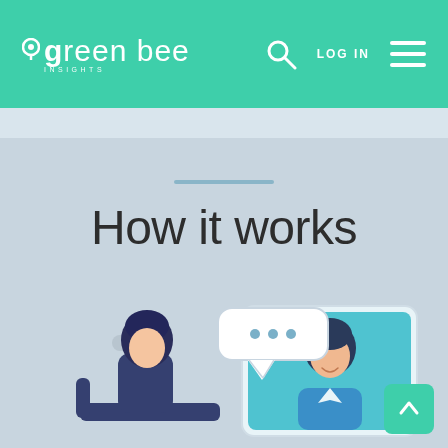green bee INSIGHTS
How it works
[Figure (illustration): Illustration of a person sitting on a couch talking via video call with a man shown on a screen, with a speech bubble containing three dots above them. A scroll-to-top button is in the bottom right corner.]